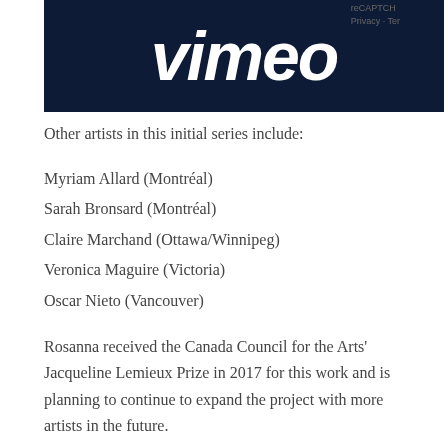[Figure (screenshot): Vimeo logo on dark navy background, with reCAPTCHA text partially visible in top right corner]
Other artists in this initial series include:
Myriam Allard (Montréal)
Sarah Bronsard (Montréal)
Claire Marchand (Ottawa/Winnipeg)
Veronica Maguire (Victoria)
Oscar Nieto (Vancouver)
Rosanna received the Canada Council for the Arts' Jacqueline Lemieux Prize in 2017 for this work and is planning to continue to expand the project with more artists in the future.
This month it was a featured article online in The Dance Current –